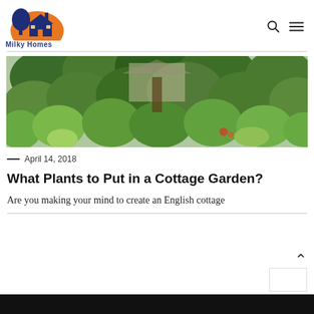Milky Homes
[Figure (photo): Lush green cottage garden with dense shrubs, trees and foliage, with a house partially visible in the background.]
— April 14, 2018
What Plants to Put in a Cottage Garden?
Are you making your mind to create an English cottage